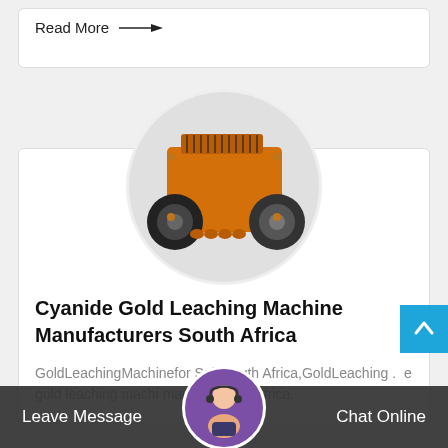Read More →
[Figure (photo): Orange industrial impact crusher machine shown in a circular cropped image]
Cyanide Gold Leaching Machine Manufacturers South Africa
GoldLeachingMachinefor SaleSouth Africa,GoldLeaching . e gold leaching machi manufacturers africa.
Leave Message   Chat Online